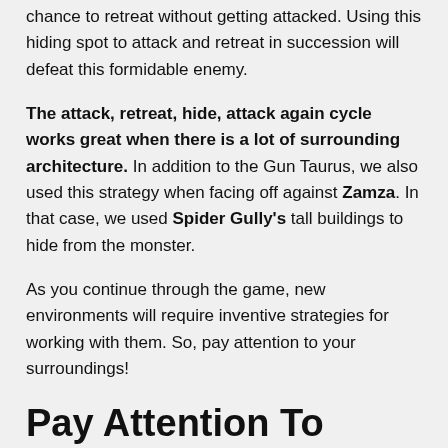chance to retreat without getting attacked. Using this hiding spot to attack and retreat in succession will defeat this formidable enemy.
The attack, retreat, hide, attack again cycle works great when there is a lot of surrounding architecture. In addition to the Gun Taurus, we also used this strategy when facing off against Zamza. In that case, we used Spider Gully's tall buildings to hide from the monster.
As you continue through the game, new environments will require inventive strategies for working with them. So, pay attention to your surroundings!
Pay Attention To Debris Obstacles To Progress To New Areas